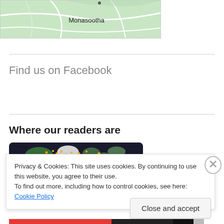[Figure (map): Top portion of a green road/terrain map showing region labeled 'Monasootha']
Find us on Facebook
Where our readers are
[Figure (map): World map with yellow/orange dots indicating reader locations, dark background]
Privacy & Cookies: This site uses cookies. By continuing to use this website, you agree to their use.
To find out more, including how to control cookies, see here: Cookie Policy
Close and accept